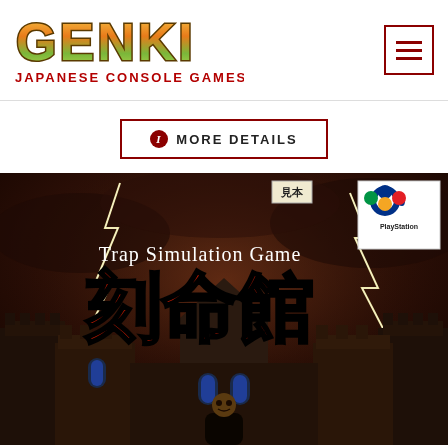[Figure (logo): Genki Japanese Console Games logo with colorful stylized text and red subtitle]
[Figure (other): Hamburger menu button with three horizontal bars, red border]
ⓘ MORE DETAILS
[Figure (photo): PlayStation game cover for Trap Simulation Game Koumyoukan - dark castle with lightning, large red kanji title characters, PlayStation logo in top right corner, Mihon sample badge]